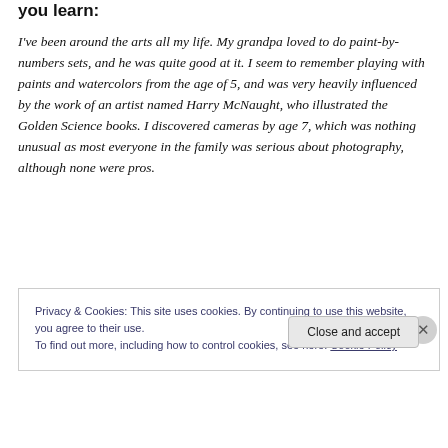you learn:
I've been around the arts all my life. My grandpa loved to do paint-by-numbers sets, and he was quite good at it. I seem to remember playing with paints and watercolors from the age of 5, and was very heavily influenced by the work of an artist named Harry McNaught, who illustrated the Golden Science books. I discovered cameras by age 7, which was nothing unusual as most everyone in the family was serious about photography, although none were pros.
Privacy & Cookies: This site uses cookies. By continuing to use this website, you agree to their use.
To find out more, including how to control cookies, see here: Cookie Policy
Close and accept